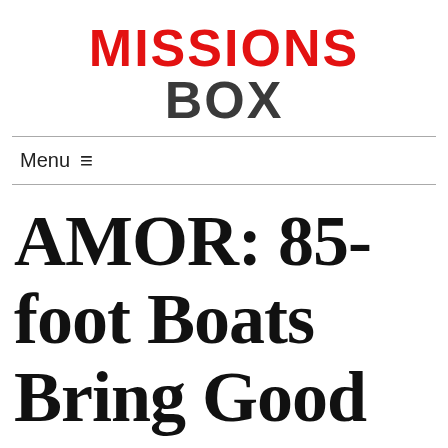MISSIONS BOX
Menu ≡
AMOR: 85-foot Boats Bring Good News to